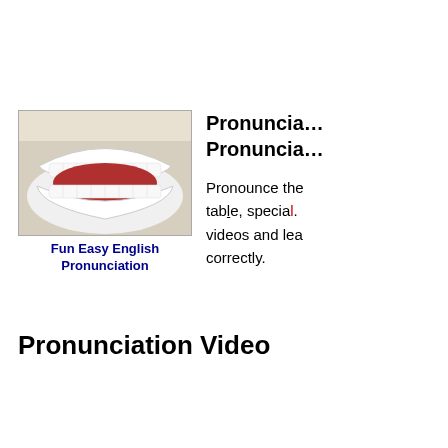[Figure (photo): A white plastic dental mouth model showing teeth and tongue, open wide, mounted against a light background.]
Fun Easy English Pronunciation
Pronunciation Pronunciation
Pronounce the... table, special. videos and lea... correctly.
Pronunciation Video